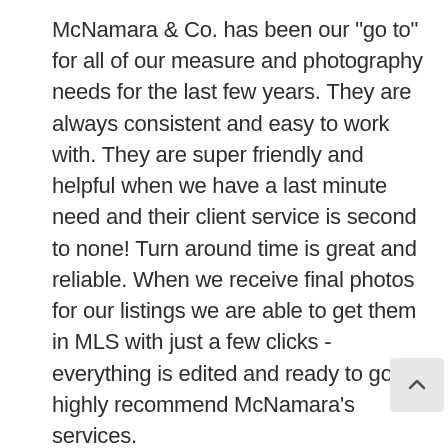McNamara & Co. has been our "go to" for all of our measure and photography needs for the last few years. They are always consistent and easy to work with. They are super friendly and helpful when we have a last minute need and their client service is second to none! Turn around time is great and reliable. When we receive final photos for our listings we are able to get them in MLS with just a few clicks - everything is edited and ready to go! I highly recommend McNamara's services.
Sharon Evans